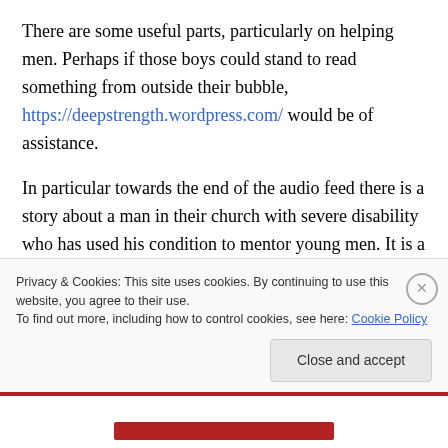There are some useful parts, particularly on helping men. Perhaps if those boys could stand to read something from outside their bubble, https://deepstrength.wordpress.com/ would be of assistance.
In particular towards the end of the audio feed there is a story about a man in their church with severe disability who has used his condition to mentor young men. It is a very interesting and heartening thing to listen to.
Privacy & Cookies: This site uses cookies. By continuing to use this website, you agree to their use.
To find out more, including how to control cookies, see here: Cookie Policy
Close and accept